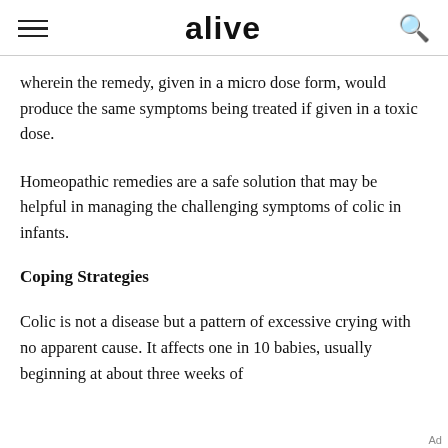alive
wherein the remedy, given in a micro dose form, would produce the same symptoms being treated if given in a toxic dose.
Homeopathic remedies are a safe solution that may be helpful in managing the challenging symptoms of colic in infants.
Coping Strategies
Colic is not a disease but a pattern of excessive crying with no apparent cause. It affects one in 10 babies, usually beginning at about three weeks of
Ad